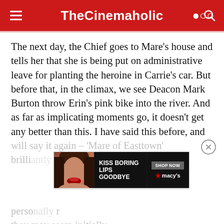TheCinemaholic
The next day, the Chief goes to Mare's house and tells her that she is being put on administrative leave for planting the heroine in Carrie's car. But before that, in the climax, we see Deacon Mark Burton throw Erin's pink bike into the river. And as far as implicating moments go, it doesn't get any better than this. I have said this before, and will say it again – 'Mare of Easttown' brilliantly … personally … if they may seem initially.
[Figure (advertisement): Macy's lipstick advertisement: 'KISS BORING LIPS GOODBYE' with SHOP NOW button and Macy's logo with red star]